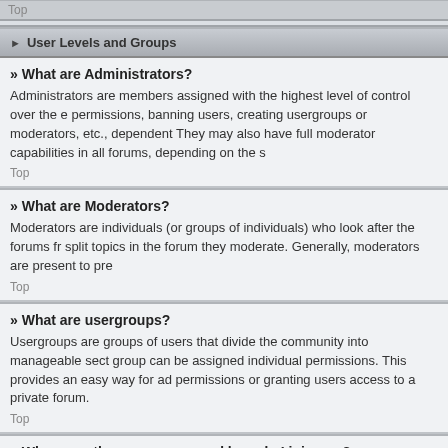Top
User Levels and Groups
» What are Administrators?
Administrators are members assigned with the highest level of control over the entire board. These members can control all facets of board operation, including setting permissions, banning users, creating usergroups or moderators, etc., dependent upon the board founder and what permissions he or she has given the other administrators. They may also have full moderator capabilities in all forums, depending on the settings put forth by the board founder.
Top
» What are Moderators?
Moderators are individuals (or groups of individuals) who look after the forums from day to day. They have the authority to edit or delete posts and lock, unlock, move, delete and split topics in the forum they moderate. Generally, moderators are present to prevent users from going off-topic or posting abusive or offensive material.
Top
» What are usergroups?
Usergroups are groups of users that divide the community into manageable sections board administrators can work with. Each user can belong to several groups and each group can be assigned individual permissions. This provides an easy way for administrators to change permissions for many users at once, such as changing moderator permissions or granting users access to a private forum.
Top
» Where are the usergroups and how do I join one?
You can view all usergroups via the “Usergroups” link within your User Control Panel. If you would like to join one, proceed by clicking the appropriate button. Not all groups have open access, however. Some may require approval to join, some may be closed and some may even have hidden memberships. If the group is open, you can join it by clicking the appropriate button. If a group requires approval to join you may request to join by clicking the appropriate button. The user group leader will need to approve your request and may ask why you want to join the group. Please do not harass a group leader if they reject your request; they will have their reasons.